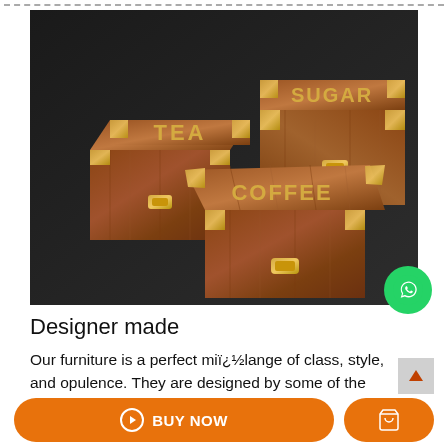[Figure (photo): Three decorative wooden boxes with brass fittings and latches, labeled TEA, SUGAR, and COFFEE on their lids, arranged on a dark background. The boxes have ornate brass corner decorations.]
Designer made
Our furniture is a perfect miï¿½lange of class, style, and opulence. They are designed by some of the best